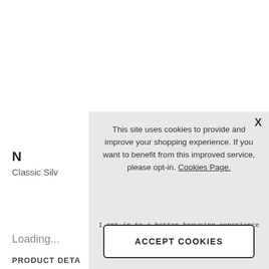N
Classic Silv
Loading...
PRODUCT DETA
This site uses cookies to provide and improve your shopping experience. If you want to benefit from this improved service, please opt-in. Cookies Page.
I opt-in to a better browsing experience
ACCEPT COOKIES
X